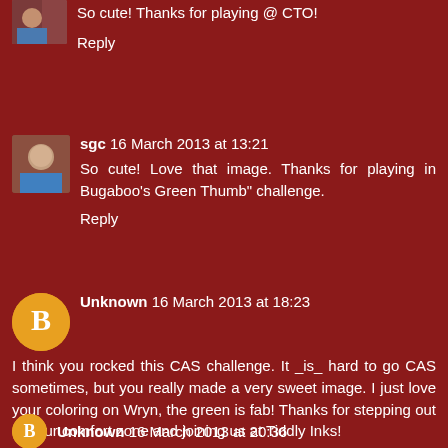So cute! Thanks for playing @ CTO!
Reply
sgc 16 March 2013 at 13:21
So cute! Love that image. Thanks for playing in Bugaboo's Green Thumb" challenge.
Reply
Unknown 16 March 2013 at 18:23
I think you rocked this CAS challenge. It _is_ hard to go CAS sometimes, but you really made a very sweet image. I just love your coloring on Wryn, the green is fab! Thanks for stepping out of your comfort zone and joining us at Tiddly Inks!
Reply
Unknown 16 March 2013 at 20:36